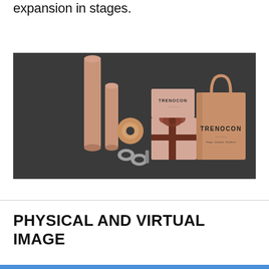expansion in stages.
[Figure (photo): Flat lay photo on dark grey background showing branded TRENOCON packaging items: kraft paper tubes, a spool of twine, tape rolls, a clothespin, a gift box with brown ribbon bow, a small branded box, and a kraft paper shopping bag with handles, all in beige/copper tones.]
PHYSICAL AND VIRTUAL IMAGE